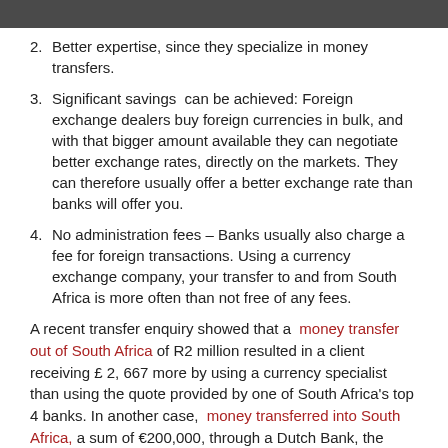Better expertise, since they specialize in money transfers.
Significant savings can be achieved: Foreign exchange dealers buy foreign currencies in bulk, and with that bigger amount available they can negotiate better exchange rates, directly on the markets. They can therefore usually offer a better exchange rate than banks will offer you.
No administration fees – Banks usually also charge a fee for foreign transactions. Using a currency exchange company, your transfer to and from South Africa is more often than not free of any fees.
A recent transfer enquiry showed that a money transfer out of South Africa of R2 million resulted in a client receiving £ 2, 667 more by using a currency specialist than using the quote provided by one of South Africa's top 4 banks. In another case, money transferred into South Africa, a sum of €200,000, through a Dutch Bank, the client was worse off by R43,000 than if he had used a currency specialist to transfer his money into South Africa.